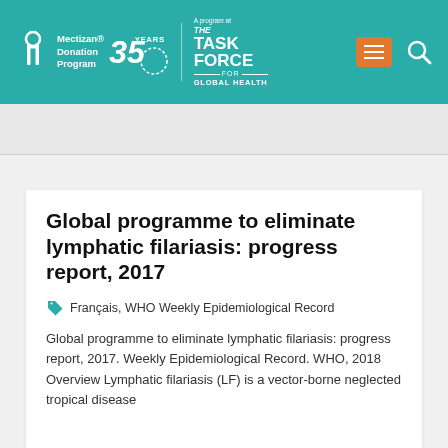Mectizan Donation Program 35 YEARS | A program at THE TASK FORCE FOR GLOBAL HEALTH
Global programme to eliminate lymphatic filariasis: progress report, 2017
Français, WHO Weekly Epidemiological Record
Global programme to eliminate lymphatic filariasis: progress report, 2017. Weekly Epidemiological Record. WHO, 2018 Overview Lymphatic filariasis (LF) is a vector-borne neglected tropical disease